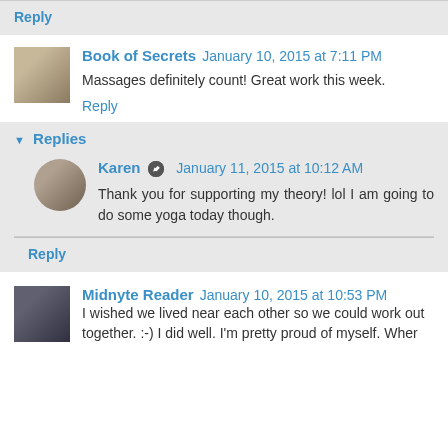Reply
Book of Secrets  January 10, 2015 at 7:11 PM
Massages definitely count! Great work this week.
Reply
Replies
Karen  January 11, 2015 at 10:12 AM
Thank you for supporting my theory! lol I am going to do some yoga today though.
Reply
Midnyte Reader  January 10, 2015 at 10:53 PM
I wished we lived near each other so we could work out together. :-) I did well. I'm pretty proud of myself. Wher